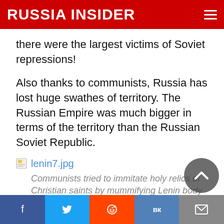RUSSIA INSIDER
there were the largest victims of Soviet repressions!
Also thanks to communists, Russia has lost huge swathes of territory. The Russian Empire was much bigger in terms of the territory than the Russian Soviet Republic.
[Figure (other): File icon for lenin7.jpg image link]
Communists tried to immitate holy relics of Christian saints by mummifying Lenin body
How can Russians be responsible for Soviet misdeeds? Let's have a look at the nationalities of